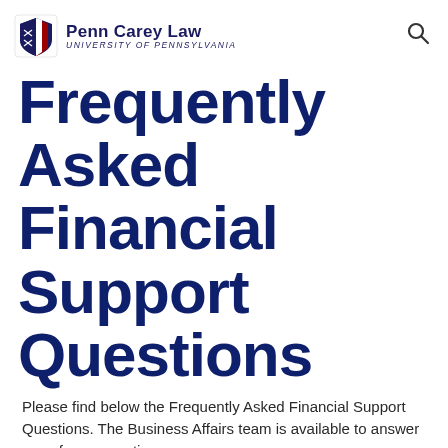Penn Carey Law University of Pennsylvania
Frequently Asked Financial Support Questions
Please find below the Frequently Asked Financial Support Questions. The Business Affairs team is available to answer any of your questions.
How can the Business